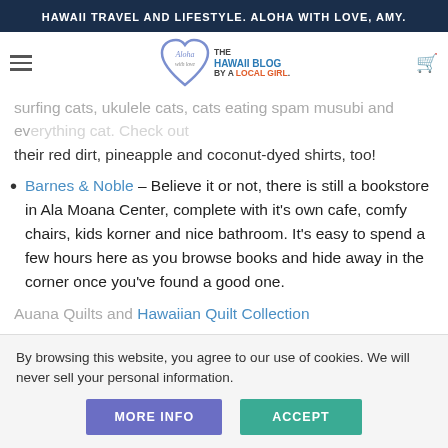HAWAII TRAVEL AND LIFESTYLE. ALOHA WITH LOVE, AMY.
[Figure (logo): Aloha With Love logo — heart outline with 'Aloha with love' script inside, next to text 'THE HAWAII BLOG BY A LOCAL GIRL.']
surfing cats, ukulele cats, cats eating spam musubi and everything cat. Check out their red dirt, pineapple and coconut-dyed shirts, too!
Barnes & Noble – Believe it or not, there is still a bookstore in Ala Moana Center, complete with it's own cafe, comfy chairs, kids korner and nice bathroom. It's easy to spend a few hours here as you browse books and hide away in the corner once you've found a good one.
Auana Quilts and Hawaiian Quilt Collection
By browsing this website, you agree to our use of cookies. We will never sell your personal information.
MORE INFO   ACCEPT